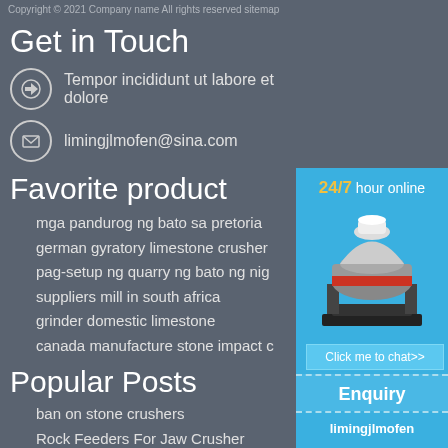Copyright © 2021 Company name All rights reserved sitemap
Get in Touch
Tempor incididunt ut labore et dolore
limingjlmofen@sina.com
Favorite product
mga pandurog ng bato sa pretoria
german gyratory limestone crusher
pag-setup ng quarry ng bato ng nig
suppliers mill in south africa
grinder domestic limestone
canada manufacture stone impact c
[Figure (photo): Industrial cone crusher machine, white and red, displayed in sidebar with blue background. Shows '24/7 hour online' text and 'Click me to chat>>' button.]
Popular Posts
ban on stone crushers
Rock Feeders For Jaw Crusher
Enquiry
limingjlmofen